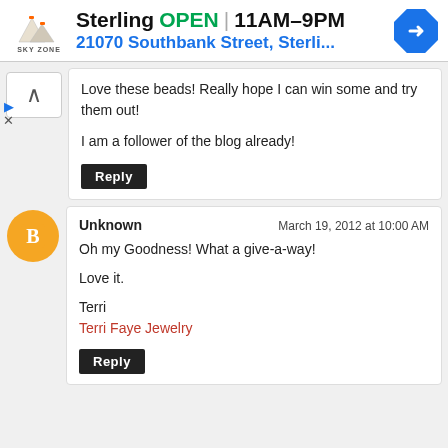[Figure (screenshot): Advertisement banner for Sky Zone Sterling location showing logo, OPEN status, hours 11AM-9PM, address 21070 Southbank Street, Sterli..., and navigation icon]
Love these beads! Really hope I can win some and try them out!

I am a follower of the blog already!
Reply
Unknown | March 19, 2012 at 10:00 AM
Oh my Goodness! What a give-a-way!

Love it.

Terri
Terri Faye Jewelry
Reply